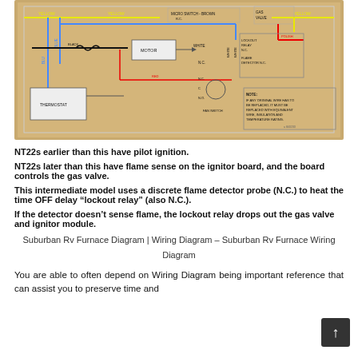[Figure (schematic): Suburban RV furnace wiring diagram showing thermostat, motor, fan switch, flame detector N.C., lockout relay N.C., gas valve, and ignitor board connections with color-coded wires (yellow, blue, black, white, red). Note: IF ANY ORIGINAL WIRE HAS TO BE REPLACED, IT MUST BE REPLACED WITH EQUIVALENT WIRE, INSULATION AND TEMPERATURE RATING.]
NT22s earlier than this have pilot ignition.
NT22s later than this have flame sense on the ignitor board, and the board controls the gas valve.
This intermediate model uses a discrete flame detector probe (N.C.) to heat the time OFF delay “lockout relay” (also N.C.).
If the detector doesn’t sense flame, the lockout relay drops out the gas valve and ignitor module.
Suburban Rv Furnace Diagram | Wiring Diagram – Suburban Rv Furnace Wiring Diagram
You are able to often depend on Wiring Diagram being important reference that can assist you to preserve time and